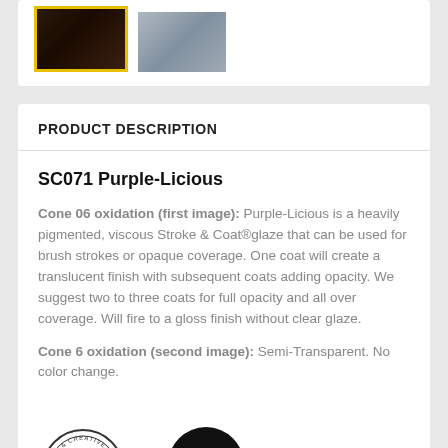[Figure (photo): Two thumbnail images: first with yellow border showing dark ceramic, second showing grey glazed ceramic]
PRODUCT DESCRIPTION
SC071 Purple-Licious
Cone 06 oxidation (first image): Purple-Licious is a heavily pigmented, viscous Stroke & Coat®glaze that can be used for brush strokes or opaque coverage. One coat will create a translucent finish with subsequent coats adding opacity. We suggest two to three coats for full opacity and all over coverage. Will fire to a gloss finish without clear glaze.
Cone 6 oxidation (second image): Semi-Transparent. No color change.
[Figure (logo): ACMI certification logo (circular stamp) and a second black circular logo with barcode-style icon]